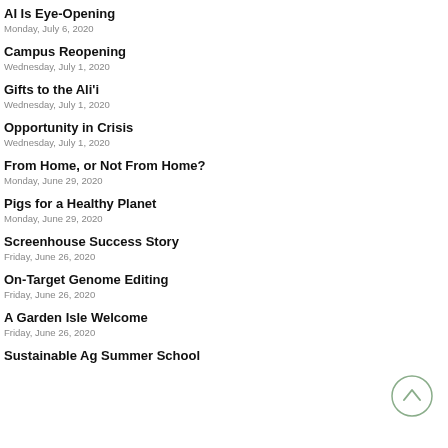AI Is Eye-Opening
Monday, July 6, 2020
Campus Reopening
Wednesday, July 1, 2020
Gifts to the Ali'i
Wednesday, July 1, 2020
Opportunity in Crisis
Wednesday, July 1, 2020
From Home, or Not From Home?
Monday, June 29, 2020
Pigs for a Healthy Planet
Monday, June 29, 2020
Screenhouse Success Story
Friday, June 26, 2020
On-Target Genome Editing
Friday, June 26, 2020
A Garden Isle Welcome
Friday, June 26, 2020
Sustainable Ag Summer School